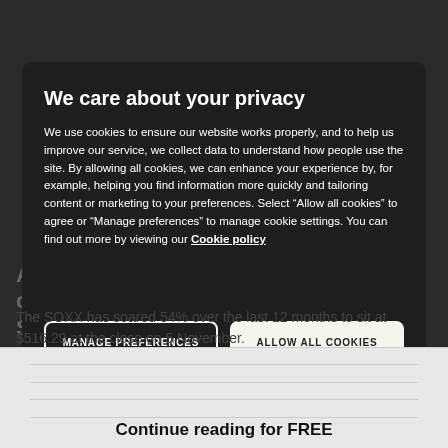[Figure (screenshot): Dark background photo/article page behind cookie consent modal]
We care about your privacy
We use cookies to ensure our website works properly, and to help us improve our service, we collect data to understand how people use the site. By allowing all cookies, we can enhance your experience by, for example, helping you find information more quickly and tailoring content or marketing to your preferences. Select “Allow all cookies” to agree or “Manage preferences” to manage cookie settings. You can find out more by viewing our Cookie policy
MANAGE PREFERENCES
ALLOW ALL COOKIES
A surge in demand for semiconductor chips has energised the iShares PHLX Semiconductor ETF (SOXX) this year. The SOXX has soared 54% over the last 12 months to sit at $516.29 at the close on 5 November.
Continue reading for FREE